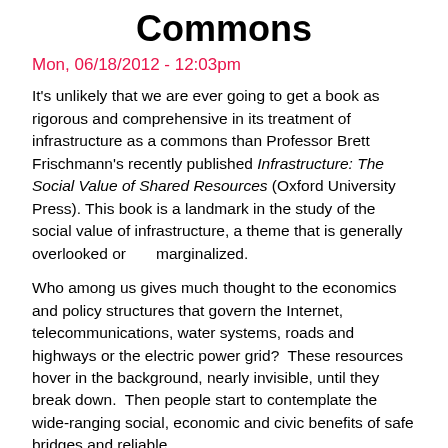Commons
Mon, 06/18/2012 - 12:03pm
It's unlikely that we are ever going to get a book as rigorous and comprehensive in its treatment of infrastructure as a commons than Professor Brett Frischmann's recently published Infrastructure: The Social Value of Shared Resources (Oxford University Press). This book is a landmark in the study of the social value of infrastructure, a theme that is generally overlooked or marginalized.
Who among us gives much thought to the economics and policy structures that govern the Internet, telecommunications, water systems, roads and highways or the electric power grid?  These resources hover in the background, nearly invisible, until they break down.  Then people start to contemplate the wide-ranging social, economic and civic benefits of safe bridges and reliable,